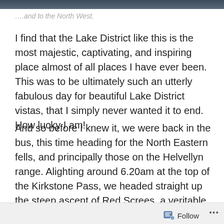[Figure (photo): Top strip of a photograph, showing a dark blue/grey sky or landscape scene (cropped, only a thin strip visible at the top of the page).]
….and to the North West.
I find that the Lake District like this is the most majestic, captivating, and inspiring place almost of all places I have ever been. This was to be ultimately such an utterly fabulous day for beautiful Lake District vistas, that I simply never wanted it to end. How lucky I am!
And so before I knew it, we were back in the bus, this time heading for the North Eastern fells, and principally those on the Helvellyn range. Alighting around 6.20am at the top of the Kirkstone Pass, we headed straight up the steep ascent of Red Screes, a veritable stiff pull if ever there was one. Unfortunately however, we were already well into the cloud by the top of the Kirkstone Pass, so the climb up
Follow  •••